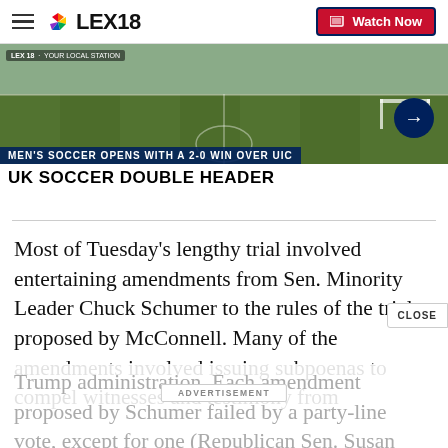LEX18 | Watch Now
[Figure (screenshot): Video thumbnail showing a soccer field with text overlay: MEN'S SOCCER OPENS WITH A 2-0 WIN OVER UIC and UK SOCCER DOUBLE HEADER]
Most of Tuesday’s lengthy trial involved entertaining amendments from Sen. Minority Leader Chuck Schumer to the rules of the trial proposed by McConnell. Many of the amendments involved issuing subpoenas to compel witnesses and testimony from Trump administration. Each amendment proposed by Schumer failed by a party-line vote, except for one (Republican Sen. Susan Collins voted against killing a